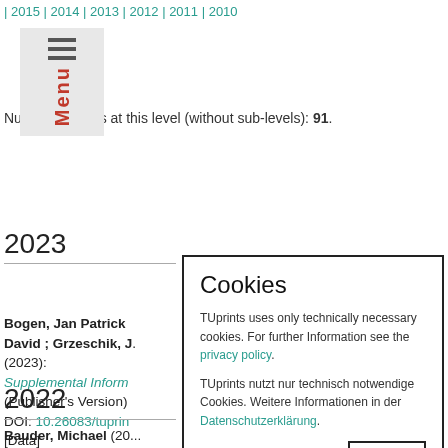| 2015 | 2014 | 2013 | 2012 | 2011 | 2010
Number of items at this level (without sub-levels): 91.
2023
Bogen, Jan Patrick ; David ; Grzeschik, J. (2023):
Supplemental Inform...
(Publisher's Version)
DOI: 10.26083/tuprin...
[Data]
2022
Bauder, Michael (20...
Design and Synthesis of macrocyclic FKBP51 ligands.
Cookies

TUprints uses only technically necessary cookies. For further Information see the privacy policy.

TUprints nutzt nur technisch notwendige Cookies. Weitere Informationen in der Datenschutzerklärung.
Okay